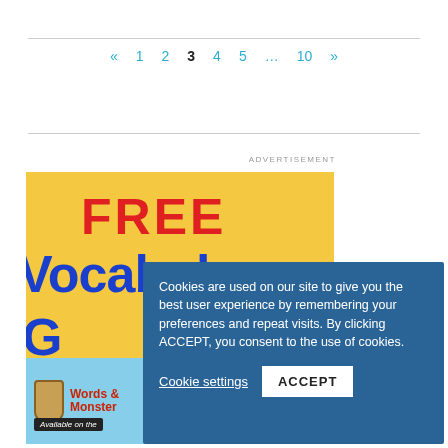« 1 2 3 4 5 … 10 »
[Figure (illustration): Advertisement banner for a free vocabulary game app showing 'FREE Vocabulary Game' text in red and blue on yellow background, with Words & Monsters game logo on light blue background at bottom]
ADVERTISEMENT
Cookies are used on our site to give you the best user experience by remembering your preferences and repeat visits. By clicking ACCEPT, you consent to the use of cookies.
Cookie settings   ACCEPT